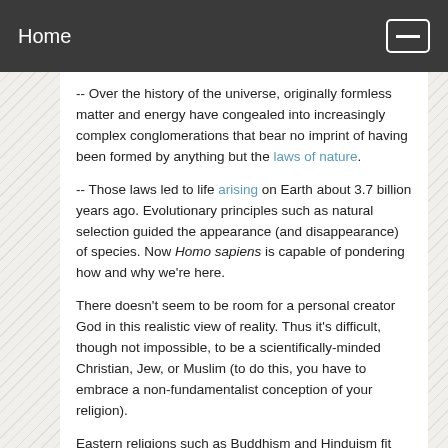Home
-- Over the history of the universe, originally formless matter and energy have congealed into increasingly complex conglomerations that bear no imprint of having been formed by anything but the laws of nature.
-- Those laws led to life arising on Earth about 3.7 billion years ago. Evolutionary principles such as natural selection guided the appearance (and disappearance) of species. Now Homo sapiens is capable of pondering how and why we're here.
There doesn't seem to be room for a personal creator God in this realistic view of reality. Thus it's difficult, though not impossible, to be a scientifically-minded Christian, Jew, or Muslim (to do this, you have to embrace a non-fundamentalist conception of your religion).
Eastern religions such as Buddhism and Hinduism fit better with modern science, but by no means completely. Reincarnation or rebirth, for example, are tough to